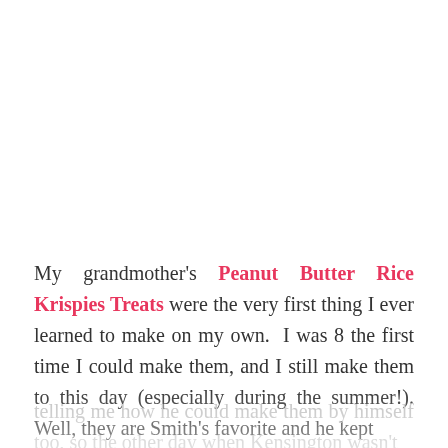My grandmother's Peanut Butter Rice Krispies Treats were the very first thing I ever learned to make on my own. I was 8 the first time I could make them, and I still make them to this day (especially during the summer!). Well, they are Smith's favorite and he kept telling me how he could make them by himself too, so the other day when Kensington wasn't